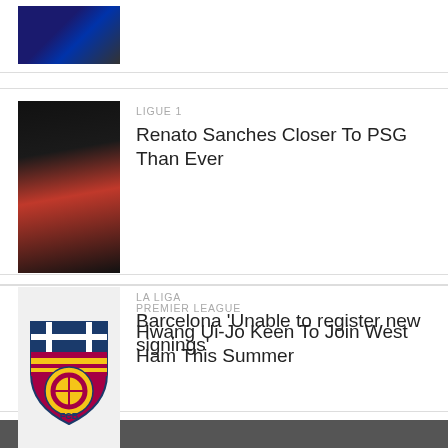[Figure (photo): Partial Inter Milan player photo (cropped, dark blue strip)]
[Figure (photo): Renato Sanches in red Lille jersey, Ligue 1]
LIGUE 1
Renato Sanches Closer To PSG Than Ever
[Figure (photo): Hwang Ui-Jo in blue jersey with UI-JO HWANG text in background]
PREMIER LEAGUE
Hwang Ui-Jo Keen To Join West Ham This Summer
[Figure (logo): FC Barcelona crest logo on light grey background]
LA LIGA
Barcelona ‘Unable to register new signings’